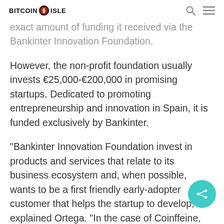BITCOIN ISLE
exact amount of funding it received via the Bankinter Innovation Foundation.
However, the non-profit foundation usually invests €25,000-€200,000 in promising startups. Dedicated to promoting entrepreneurship and innovation in Spain, it is funded exclusively by Bankinter.
"Bankinter Innovation Foundation invest in products and services that relate to its business ecosystem and, when possible, wants to be a first friendly early-adopter customer that helps the startup to develop," explained Ortega. "In the case of Coinffeine, we are still working on finding the best collaboration